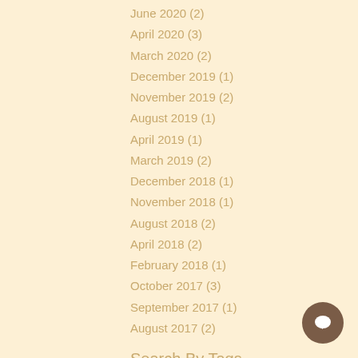June 2020 (2)
April 2020 (3)
March 2020 (2)
December 2019 (1)
November 2019 (2)
August 2019 (1)
April 2019 (1)
March 2019 (2)
December 2018 (1)
November 2018 (1)
August 2018 (2)
April 2018 (2)
February 2018 (1)
October 2017 (3)
September 2017 (1)
August 2017 (2)
Search By Tags
#BCBA   #BCBAtestprep   #examretake